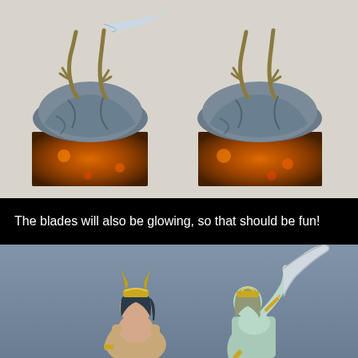[Figure (photo): Two painted miniature figurines showing bases with dark grey rocky/cloth elements on orange-brown textured square bases, with clawed hands and blades visible at the top. Photographed against a light background.]
The blades will also be glowing, so that should be fun!
[Figure (photo): Two painted miniature figurines of female warriors against a blue-grey background. Left figure has a horned headdress and dark hair. Right figure has light/mint colored skin and holds a large curved blade weapon raised above.]